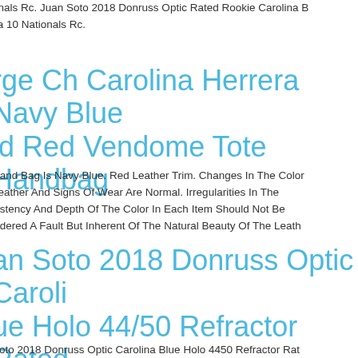5nals Rc. Juan Soto 2018 Donruss Optic Rated Rookie Carolina B... sa 10 Nationals Rc.
rge Ch Carolina Herrera Navy Blue id Red Vendome Tote Handbag
Hand Bag Is Navy Blue. Red Leather Trim. Changes In The Color Leather And Signs Of Wear Are Normal. Irregularities In The sistency And Depth Of The Color In Each Item Should Not Be sidered A Fault But Inherent Of The Natural Beauty Of The Leath
an Soto 2018 Donruss Optic Caroli... ue Holo 44/50 Refractor Rated okie Rc
Soto 2018 Donruss Optic Carolina Blue Holo 4450 Refractor Rat...